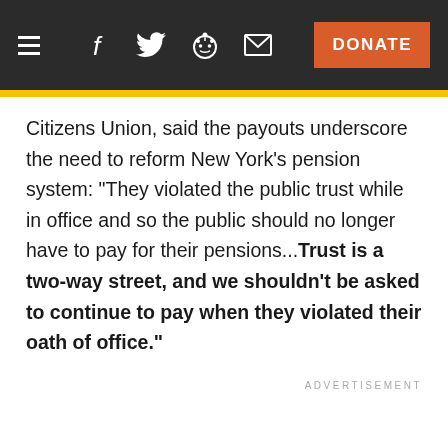≡  f  🐦  👽  ✉  DONATE
Citizens Union, said the payouts underscore the need to reform New York's pension system: "They violated the public trust while in office and so the public should no longer have to pay for their pensions...Trust is a two-way street, and we shouldn't be asked to continue to pay when they violated their oath of office."
ADVERTISEMENT